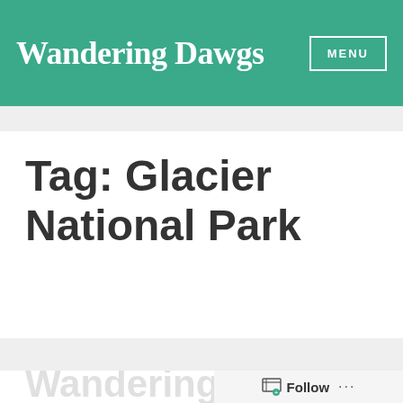Wandering Dawgs | MENU
Tag: Glacier National Park